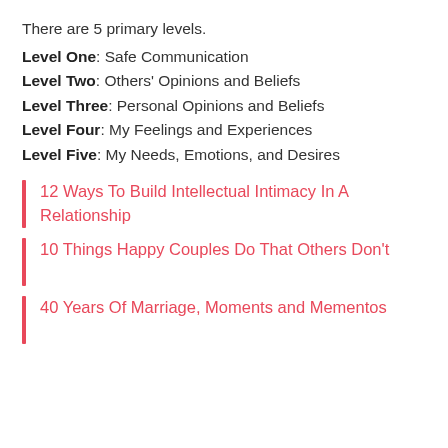There are 5 primary levels.
Level One: Safe Communication
Level Two: Others' Opinions and Beliefs
Level Three: Personal Opinions and Beliefs
Level Four: My Feelings and Experiences
Level Five: My Needs, Emotions, and Desires
12 Ways To Build Intellectual Intimacy In A Relationship
10 Things Happy Couples Do That Others Don't
40 Years Of Marriage, Moments and Mementos